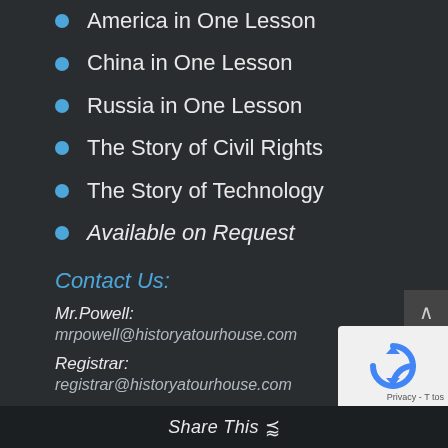America in One Lesson
China in One Lesson
Russia in One Lesson
The Story of Civil Rights
The Story of Technology
Available on Request
Contact Us:
Mr.Powell:
mrpowell@historyatourhouse.com
Registrar:
registrar@historyatourhouse.com
Technical Support:
ehuffman@elliot-labs.com
Share This